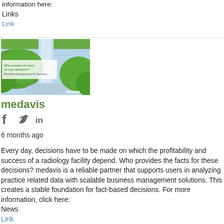information here:
Links
Link
[Figure (illustration): Advertisement banner image showing a waterfall landscape with green hills and text overlay reading 'Who provides the facts for your decisions? Business Management for Success' with a medavis logo.]
medavis
[Figure (infographic): Social media icons: Facebook (f), Twitter (bird), LinkedIn (in) in dark gray]
6 months ago
Every day, decisions have to be made on which the profitability and success of a radiology facility depend. Who provides the facts for these decisions? medavis is a reliable partner that supports users in analyzing practice related data with scalable business management solutions. This creates a stable foundation for fact-based decisions. For more information, click here:
News
Link